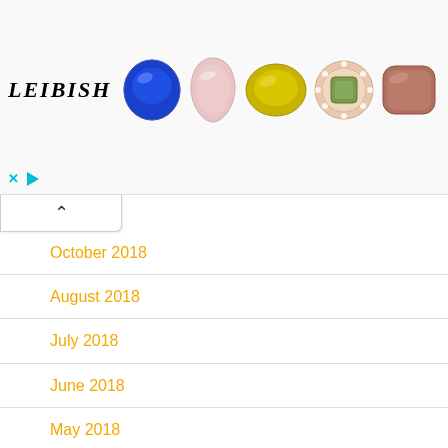[Figure (photo): Leibish advertisement banner showing logo and five colored gemstones: blue round, pink pear, yellow oval, green halo, brown cushion]
October 2018
August 2018
July 2018
June 2018
May 2018
April 2018
March 2018
February 2018